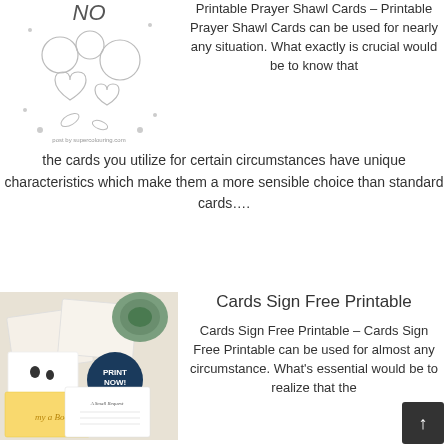[Figure (illustration): Printable prayer shawl coloring page with floral and heart motifs, black and white line art]
Printable Prayer Shawl Cards – Printable Prayer Shawl Cards can be used for nearly any situation. What exactly is crucial would be to know that the cards you utilize for certain circumstances have unique characteristics which make them a more sensible choice than standard cards….
[Figure (photo): Cards Sign Free Printable – baby shower thank you cards spread with succulents and a PRINT NOW button overlay]
Cards Sign Free Printable
Cards Sign Free Printable – Cards Sign Free Printable can be used for almost any circumstance. What's essential would be to realize that the cards you employ for particular situations have